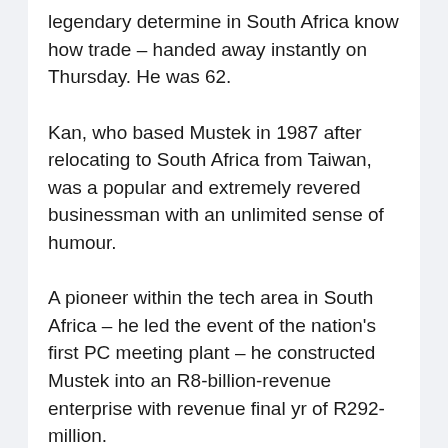legendary determine in South Africa know how trade – handed away instantly on Thursday. He was 62.
Kan, who based Mustek in 1987 after relocating to South Africa from Taiwan, was a popular and extremely revered businessman with an unlimited sense of humour.
A pioneer within the tech area in South Africa – he led the event of the nation's first PC meeting plant – he constructed Mustek into an R8-billion-revenue enterprise with revenue final yr of R292-million.
Mustek was unable to share additional particulars instantly about Kan's passing.